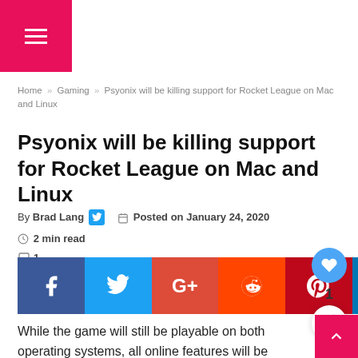☰ (hamburger menu icon)
Home » Gaming » Psyonix will be killing support for Rocket League on Mac and Linux
Psyonix will be killing support for Rocket League on Mac and Linux
By Brad Lang  🐦  📅 Posted on January 24, 2020  🕐 2 min read  💬 1
[Figure (infographic): Social share buttons: Facebook, Twitter, Google+, Reddit, Pinterest, LinkedIn, Tumblr, WhatsApp, Telegram]
While the game will still be playable on both operating systems, all online features will be shut down in March 2020.